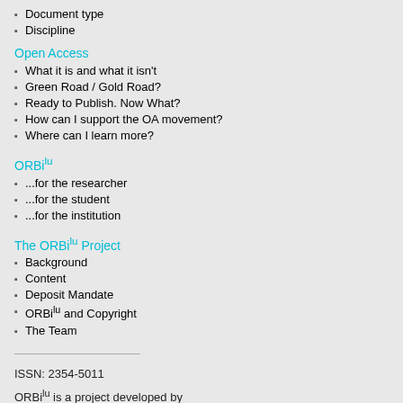Document type
Discipline
Open Access
What it is and what it isn't
Green Road / Gold Road?
Ready to Publish. Now What?
How can I support the OA movement?
Where can I learn more?
ORBilu
...for the researcher
...for the student
...for the institution
The ORBilu Project
Background
Content
Deposit Mandate
ORBilu and Copyright
The Team
ISSN: 2354-5011
ORBilu is a project developed by
Love at First Sight? A
SARTOR, SEBASTIAN; SEDLMEIR, JO
in 30th European Conference
Today's systems for digital l paradigm, called Self-Sovere